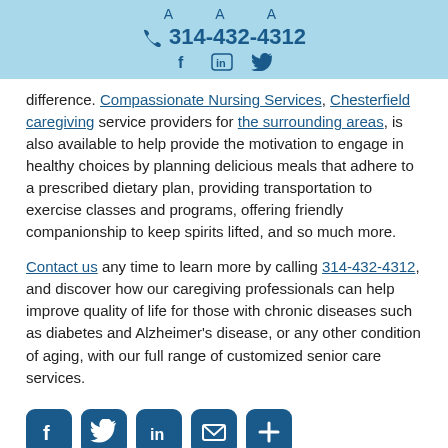A A A | 314-432-4312 | Facebook | LinkedIn | Twitter
difference. Compassionate Nursing Services, Chesterfield caregiving service providers for the surrounding areas, is also available to help provide the motivation to engage in healthy choices by planning delicious meals that adhere to a prescribed dietary plan, providing transportation to exercise classes and programs, offering friendly companionship to keep spirits lifted, and so much more.
Contact us any time to learn more by calling 314-432-4312, and discover how our caregiving professionals can help improve quality of life for those with chronic diseases such as diabetes and Alzheimer's disease, or any other condition of aging, with our full range of customized senior care services.
[Figure (infographic): Social media sharing icons: Facebook, Twitter, LinkedIn, Email, Share/Plus]